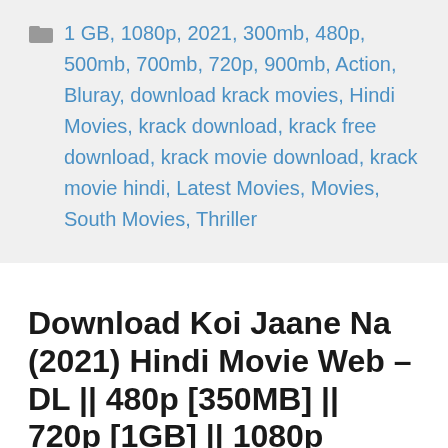1 GB, 1080p, 2021, 300mb, 480p, 500mb, 700mb, 720p, 900mb, Action, Bluray, download krack movies, Hindi Movies, krack download, krack free download, krack movie download, krack movie hindi, Latest Movies, Movies, South Movies, Thriller
Download Koi Jaane Na (2021) Hindi Movie Web – DL || 480p [350MB] || 720p [1GB] || 1080p [3.5GB]
June 5, 2021 by admin